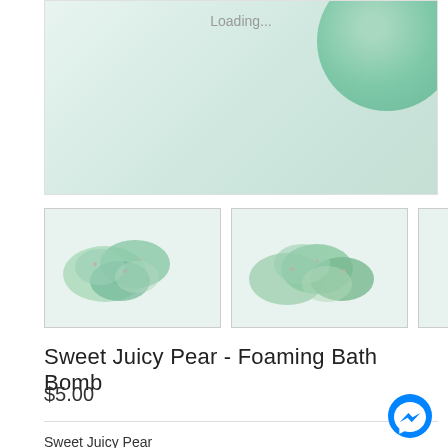[Figure (photo): Main product image area showing loading state with a green ceramic bowl/plate visible in top right corner]
[Figure (photo): Three thumbnail images of Sweet Juicy Pear Foaming Bath Bombs - small round turquoise/mint colored bath bombs]
Sweet Juicy Pear - Foaming Bath Bomb
$5.00
Sweet Juicy Pear
Foaming Bath Bomb with Lavender Buds, Goats Milk, Kaolin Clay, & Cocoa Butter
Tart and juicy, this fragrance captures the irresistible flavor of crisp pears.